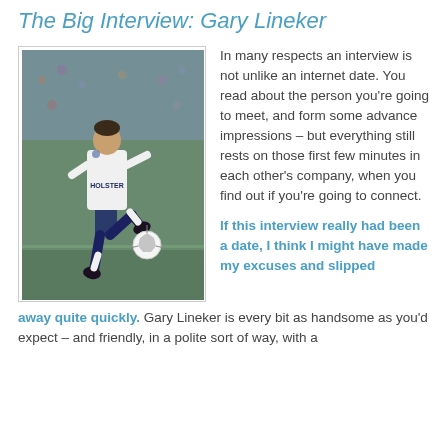The Big Interview: Gary Lineker
[Figure (photo): Gary Lineker in a white Tottenham Hotspur kit with HOLSTER sponsor, running after a football on a pitch]
In many respects an interview is not unlike an internet date. You read about the person you're going to meet, and form some advance impressions – but everything still rests on those first few minutes in each other's company, when you find out if you're going to connect.
If this interview really had been a date, I think I might have made my excuses and slipped away quite quickly. Gary Lineker is every bit as handsome as you'd expect – and friendly, in a polite sort of way, with a